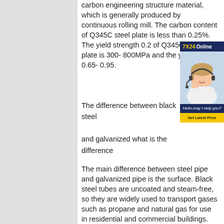carbon engineering structure material, which is generally produced by continuous rolling mill. The carbon content of Q345C steel plate is less than 0.25%. The yield strength 0.2 of Q345C steel plate is 300- 800MPa and the yield ratio is 0.65- 0.95.
[Figure (illustration): Customer service widget showing '7X24 Online' header in dark blue with yellow text, a photo of a woman wearing a headset smiling, and a dark blue footer with italic text 'Hello,may I help you?' and a yellow 'Get Latest Price' button.]
The difference between black steel and galvanized what is the difference between boiler plate steel carbon
The main difference between steel pipe and galvanized pipe is the surface. Black steel tubes are uncoated and steam-free, so they are widely used to transport gases such as propane and natural gas for use in residential and commercial buildings. Zinc and other minerals on the surface of